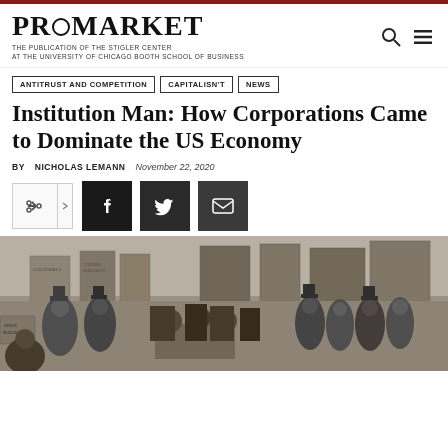PROMARKET — THE PUBLICATION OF THE STIGLER CENTER AT THE UNIVERSITY OF CHICAGO BOOTH SCHOOL OF BUSINESS
ANTITRUST AND COMPETITION
CAPITALISN'T
NEWS
Institution Man: How Corporations Came to Dominate the US Economy
BY NICHOLAS LEMANN  November 22, 2020
[Figure (illustration): Black and white historical engraving of a crowd of men in top hats and period clothing gathered around what appears to be a stock trading area, with signs for various businesses visible in the background.]